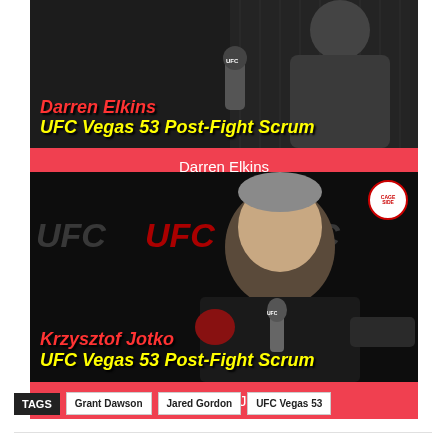[Figure (photo): Darren Elkins UFC Vegas 53 Post-Fight Scrum thumbnail image with fighter photo and overlaid text on dark background]
Darren Elkins
[Figure (photo): Krzysztof Jotko UFC Vegas 53 Post-Fight Scrum thumbnail image with fighter photo at press conference, UFC backdrop, Cageside badge]
Krzysztof Jotko
TAGS  Grant Dawson  Jared Gordon  UFC Vegas 53